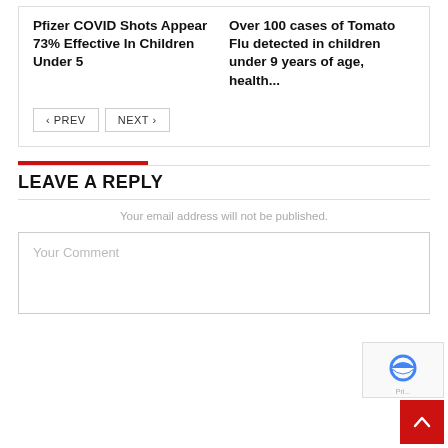Pfizer COVID Shots Appear 73% Effective In Children Under 5
Over 100 cases of Tomato Flu detected in children under 9 years of age, health...
Your email address will not be published.
LEAVE A REPLY
Your Comment